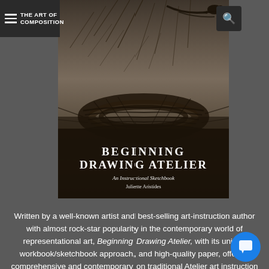THE ART OF COMPOSITION
[Figure (photo): Book cover of 'Beginning Drawing Atelier: An Instructional Sketchbook' by Juliette Aristides. The cover shows a dark, moody illustration of bird nests made of twigs and branches, with a bird perched on a branch in the upper right. The title 'BEGINNING DRAWING ATELIER' appears in large serif letters, with subtitle 'An Instructional Sketchbook' and author 'Juliette Aristides' below.]
Written by a well-known artist and best-selling art-instruction author with almost rock-star popularity in the contemporary world of representational art, Beginning Drawing Atelier, with its unique workbook/sketchbook approach, and high-quality paper, offers a comprehensive and contemporary on traditional Atelier art instruction practices.